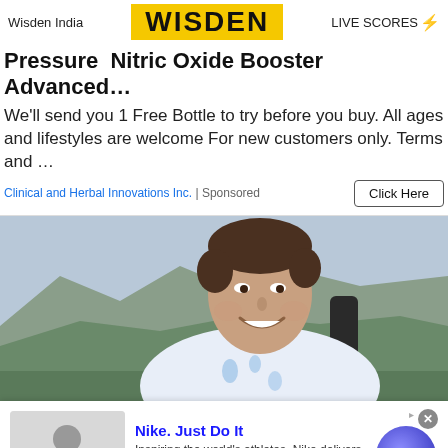Wisden India | WISDEN | LIVE SCORES
Pressure  Nitric Oxide Booster Advanced…
We'll send you 1 Free Bottle to try before you buy. All ages and lifestyles are welcome For new customers only. Terms and …
Clinical and Herbal Innovations Inc. | Sponsored   Click Here
[Figure (photo): A smiling man with short brown hair wearing a floral shirt and backpack, outdoors with a mountainous landscape in the background.]
Nike. Just Do It
Inspiring the world's athletes, Nike delivers the deals
www.nike.com